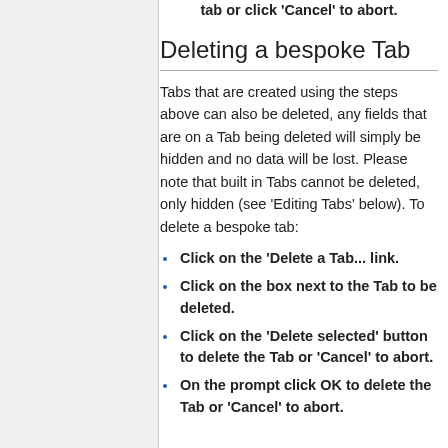tab or click 'Cancel' to abort.
Deleting a bespoke Tab
Tabs that are created using the steps above can also be deleted, any fields that are on a Tab being deleted will simply be hidden and no data will be lost. Please note that built in Tabs cannot be deleted, only hidden (see 'Editing Tabs' below). To delete a bespoke tab:
Click on the 'Delete a Tab... link.
Click on the box next to the Tab to be deleted.
Click on the 'Delete selected' button to delete the Tab or 'Cancel' to abort.
On the prompt click OK to delete the Tab or 'Cancel' to abort.